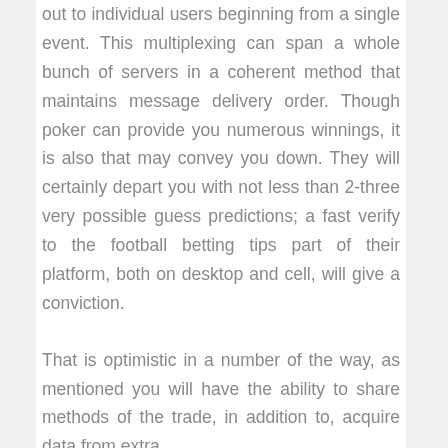out to individual users beginning from a single event. This multiplexing can span a whole bunch of servers in a coherent method that maintains message delivery order. Though poker can provide you numerous winnings, it is also that may convey you down. They will certainly depart you with not less than 2-three very possible guess predictions; a fast verify to the football betting tips part of their platform, both on desktop and cell, will give a conviction.
That is optimistic in a number of the way, as mentioned you will have the ability to share methods of the trade, in addition to, acquire data from extra